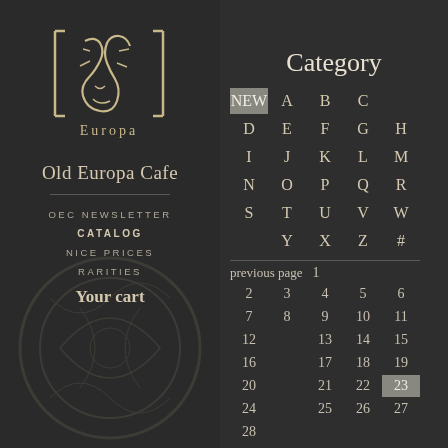[Figure (logo): Old Europa Cafe logo — stylized figure with text 'Europa' below, white line art on dark background]
Old Europa Cafe
OEC NEWSLETTER
CATALOG
NICE PRICES
RARITIES
Your cart
what are you looking for?
Category
NEW  A  B  C
D  E  F  G  H
I  J  K  L  M
N  O  P  Q  R
S  T  U  V  W
Y  X  Z  #
previous page  1
2  3  4  5  6  7
8  9  10  11  12
13  14  15  16
17  18  19  20
21  22  23  24
25  26  27  28